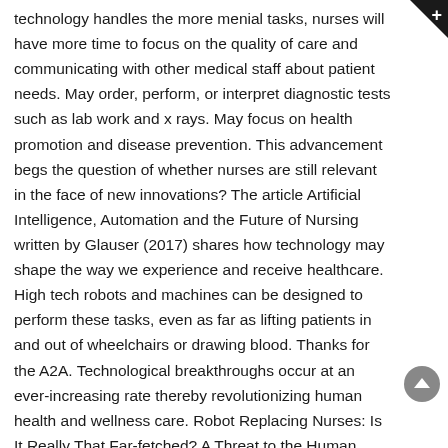technology handles the more menial tasks, nurses will have more time to focus on the quality of care and communicating with other medical staff about patient needs. May order, perform, or interpret diagnostic tests such as lab work and x rays. May focus on health promotion and disease prevention. This advancement begs the question of whether nurses are still relevant in the face of new innovations? The article Artificial Intelligence, Automation and the Future of Nursing written by Glauser (2017) shares how technology may shape the way we experience and receive healthcare. High tech robots and machines can be designed to perform these tasks, even as far as lifting patients in and out of wheelchairs or drawing blood. Thanks for the A2A. Technological breakthroughs occur at an ever-increasing rate thereby revolutionizing human health and wellness care. Robot Replacing Nurses: Is It Really That Far-fetched? A Threat to the Human Element Improved technology can threaten to replace person-to-person interaction between nurse and patient. A shortage of qualified nursing staff and rising health costs have led to an increase in the employment of unregulated nursing workers. J Details Our ability as nurses to understand context, interpret hidden emotions, recognize implications, reflect empathy, and act